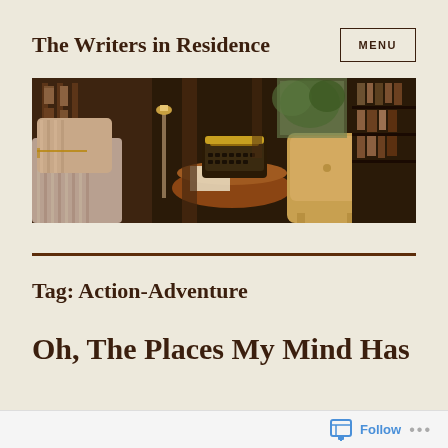The Writers in Residence
[Figure (screenshot): MENU button with border, text style navigation element]
[Figure (photo): Interior of a study or library with bookshelves, a vintage typewriter on a round wooden table, a striped armchair on the left, and a leather chair on the right]
Tag: Action-Adventure
Oh, The Places My Mind Has